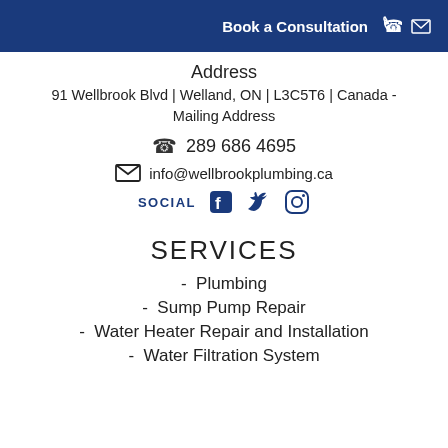Book a Consultation
Address
91 Wellbrook Blvd | Welland, ON | L3C5T6 | Canada - Mailing Address
289 686 4695
info@wellbrookplumbing.ca
SOCIAL
SERVICES
- Plumbing
- Sump Pump Repair
- Water Heater Repair and Installation
- Water Filtration System